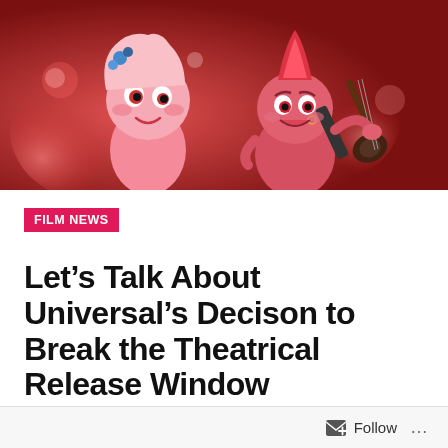[Figure (photo): Animated characters from Trolls World Tour — a pink troll with blue flower hair accessory on the left and a red punk rock troll playing an electric guitar on the right, set against a red-toned background]
FILM NEWS
Let’s Talk About Universal’s Decison to Break the Theatrical Release Window
by KELLY KONDA   March 17, 2020